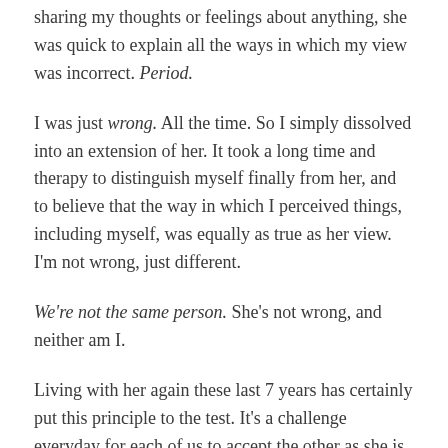sharing my thoughts or feelings about anything, she was quick to explain all the ways in which my view was incorrect. Period.
I was just wrong. All the time. So I simply dissolved into an extension of her. It took a long time and therapy to distinguish myself finally from her, and to believe that the way in which I perceived things, including myself, was equally as true as her view. I'm not wrong, just different.
We're not the same person. She's not wrong, and neither am I.
Living with her again these last 7 years has certainly put this principle to the test. It's a challenge everyday for each of us to accept the other as she is. There is lots of common ground, and we meet there and enjoy each other's company most of the time.